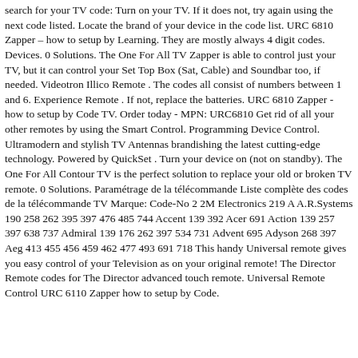search for your TV code: Turn on your TV. If it does not, try again using the next code listed. Locate the brand of your device in the code list. URC 6810 Zapper – how to setup by Learning. They are mostly always 4 digit codes. Devices. 0 Solutions. The One For All TV Zapper is able to control just your TV, but it can control your Set Top Box (Sat, Cable) and Soundbar too, if needed. Videotron Illico Remote . The codes all consist of numbers between 1 and 6. Experience Remote . If not, replace the batteries. URC 6810 Zapper - how to setup by Code TV. Order today - MPN: URC6810 Get rid of all your other remotes by using the Smart Control. Programming Device Control. Ultramodern and stylish TV Antennas brandishing the latest cutting-edge technology. Powered by QuickSet . Turn your device on (not on standby). The One For All Contour TV is the perfect solution to replace your old or broken TV remote. 0 Solutions. Paramétrage de la télécommande Liste complète des codes de la télécommande TV Marque: Code-No 2 2M Electronics 219 A A.R.Systems 190 258 262 395 397 476 485 744 Accent 139 392 Acer 691 Action 139 257 397 638 737 Admiral 139 176 262 397 534 731 Advent 695 Adyson 268 397 Aeg 413 455 456 459 462 477 493 691 718 This handy Universal remote gives you easy control of your Television as on your original remote! The Director Remote codes for The Director advanced touch remote. Universal Remote Control URC 6110 Zapper how to setup by Code.